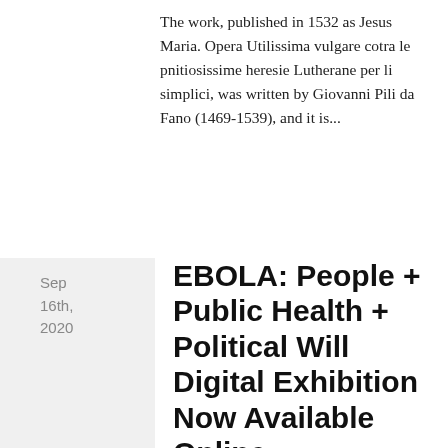The work, published in 1532 as Jesus Maria. Opera Utilissima vulgare cotra le pnitiosissime heresie Lutherane per li simplici, was written by Giovanni Pili da Fano (1469-1539), and it is...
EBOLA: People + Public Health + Political Will Digital Exhibition Now Available Online
Georgia State University and Emory University, in collaboration with the David J. Sencer CDC Museum at the Centers for